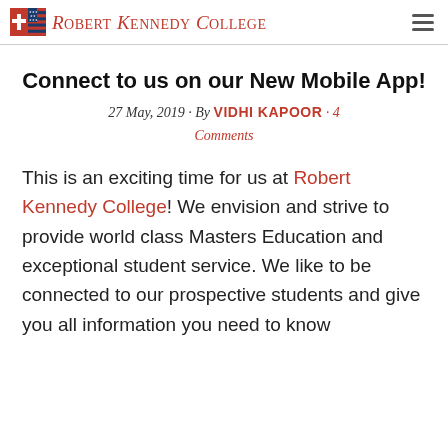Robert Kennedy College
Connect to us on our New Mobile App!
27 May, 2019 · By VIDHI KAPOOR · 4 Comments
This is an exciting time for us at Robert Kennedy College! We envision and strive to provide world class Masters Education and exceptional student service. We like to be connected to our prospective students and give you all information you need to know